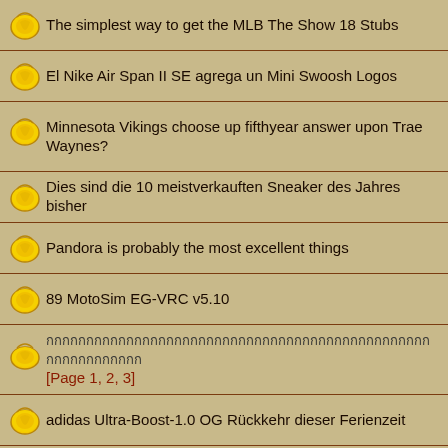The simplest way to get the MLB The Show 18 Stubs
El Nike Air Span II SE agrega un Mini Swoosh Logos
Minnesota Vikings choose up fifthyear answer upon Trae Waynes?
Dies sind die 10 meistverkauften Sneaker des Jahres bisher
Pandora is probably the most excellent things
89 MotoSim EG-VRC v5.10
[Thai text] [Page 1, 2, 3]
adidas Ultra-Boost-1.0 OG Rückkehr dieser Ferienzeit
09 Micromine.v11.0.4.1058
04 Materialise Magics v21.0.0.263
04 Materialise Sim Plant Pro AT 4...